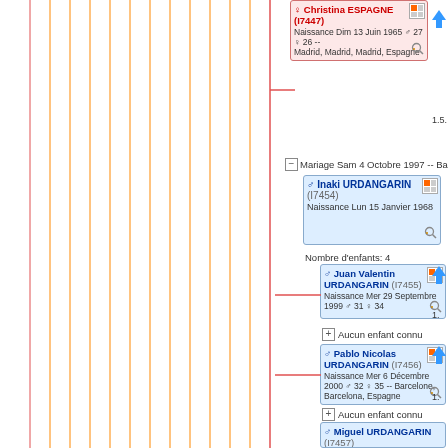[Figure (other): Genealogy tree viewer showing family members with vertical orange connector lines on left side]
Christina ESPAGNE (I7447) - Naissance Dim 13 Juin 1965 ♂ 27 ♀ 26 -- Madrid, Madrid, Madrid, Espagne
1.5.
Mariage Sam 4 Octobre 1997 -- Barcelone, Catalogne, Espagne
Inaki URDANGARIN (I7454) - Naissance Lun 15 Janvier 1968
Nombre d'enfants: 4
Juan Valentin URDANGARIN (I7455) - Naissance Mer 29 Septembre 1999 ♂ 31 ♀ 34
+ Aucun enfant connu
Pablo Nicolas URDANGARIN (I7456) - Naissance Mer 6 Décembre 2000 ♂ 32 ♀ 35 -- Barcelone, Barcelona, Espagne
+ Aucun enfant connu
Miguel URDANGARIN (I7457) - Naissance Mar 30 Avril 2002 ♂ 34 ♀ 36 -- Barcelone, Barcelona, Espagne